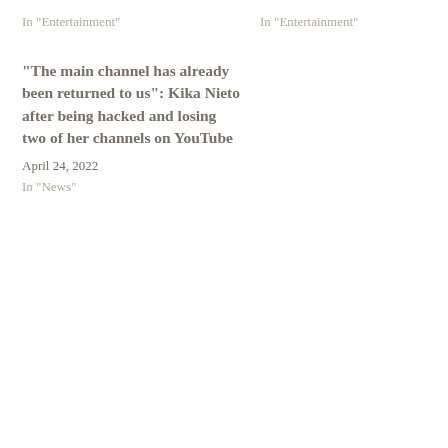In "Entertainment"
In "Entertainment"
“The main channel has already been returned to us”: Kika Nieto after being hacked and losing two of her channels on YouTube
April 24, 2022
In "News"